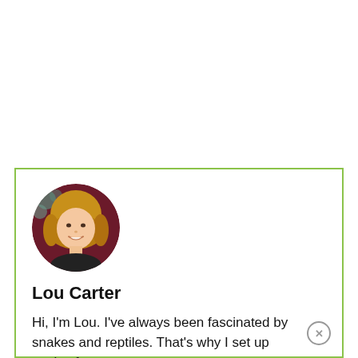[Figure (photo): Circular avatar photo of Lou Carter, a smiling woman with blonde hair, against a dark purple/maroon background with decorative pattern.]
Lou Carter
Hi, I'm Lou. I've always been fascinated by snakes and reptiles. That's why I set up snakesforpets.com – to answer every question that you could ever have about snakes as pets (and how they survive in the